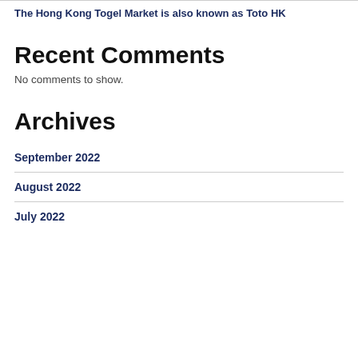The Hong Kong Togel Market is also known as Toto HK
Recent Comments
No comments to show.
Archives
September 2022
August 2022
July 2022